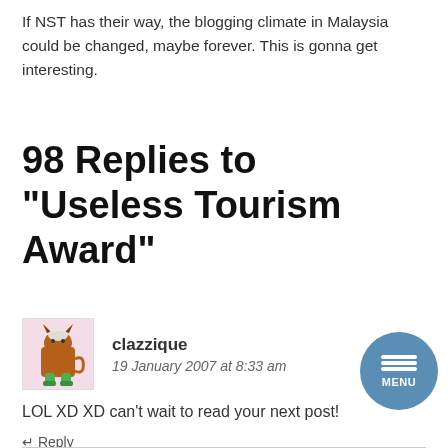If NST has their way, the blogging climate in Malaysia could be changed, maybe forever. This is gonna get interesting.
98 Replies to “Useless Tourism Award”
clazzique
19 January 2007 at 8:33 am
LOL XD XD can’t wait to read your next post!
↵ Reply